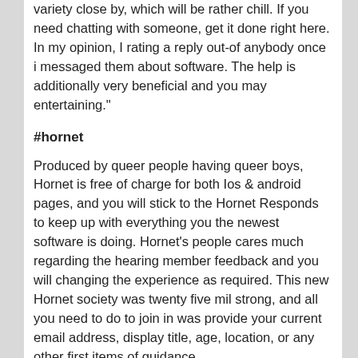variety close by, which will be rather chill. If you need chatting with someone, get it done right here. In my opinion, I rating a reply out-of anybody once i messaged them about software. The help is additionally very beneficial and you may entertaining."
#hornet
Produced by queer people having queer boys, Hornet is free of charge for both Ios & android pages, and you will stick to the Hornet Responds to keep up with everything you the newest software is doing. Hornet's people cares much regarding the hearing member feedback and you will changing the experience as required. This new Hornet society was twenty five mil strong, and all you need to do to join in was provide your current email address, display title, age, location, or any other first items of guidance.
#zoosk
Zoosk enjoys a massive, varied, and you may productive affiliate base with over 40 million individuals from all of the over the world investing 3 million texts day. You might sign